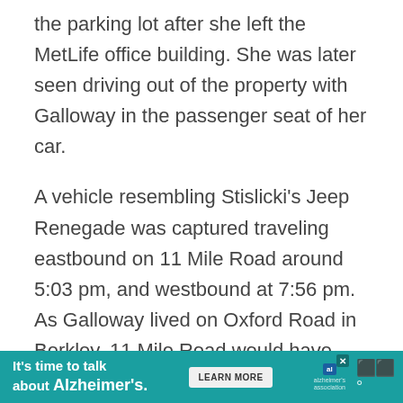the parking lot after she left the MetLife office building. She was later seen driving out of the property with Galloway in the passenger seat of her car.
A vehicle resembling Stislicki's Jeep Renegade was captured traveling eastbound on 11 Mile Road around 5:03 pm, and westbound at 7:56 pm. As Galloway lived on Oxford Road in Berkley, 11 Mile Road would have been a convenient
[Figure (infographic): Advertisement banner for Alzheimer's Association: teal background. Text reads 'It's time to talk about Alzheimer's.' with a 'LEARN MORE' button and the Alzheimer's Association logo.]